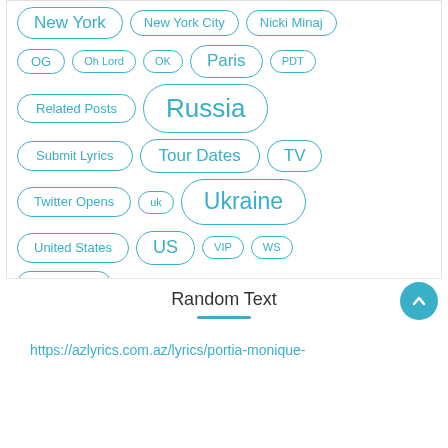New York
New York City
Nicki Minaj
OG
Oh Lord
OK
Paris
PDT
Related Posts
Russia
Submit Lyrics
Tour Dates
TV
Twitter Opens
uk
Ukraine
United States
US
VIP
WS
Vybz Kartel
Random Text
https://azlyrics.com.az/lyrics/portia-monique-